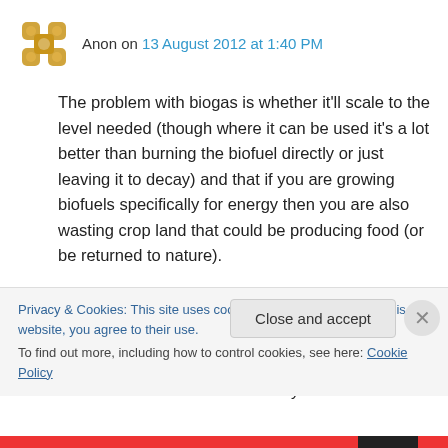Anon on 13 August 2012 at 1:40 PM
The problem with biogas is whether it'll scale to the level needed (though where it can be used it's a lot better than burning the biofuel directly or just leaving it to decay) and that if you are growing biofuels specifically for energy then you are also wasting crop land that could be producing food (or be returned to nature).
Biofuels in the west have already caused
Privacy & Cookies: This site uses cookies. By continuing to use this website, you agree to their use.
To find out more, including how to control cookies, see here: Cookie Policy